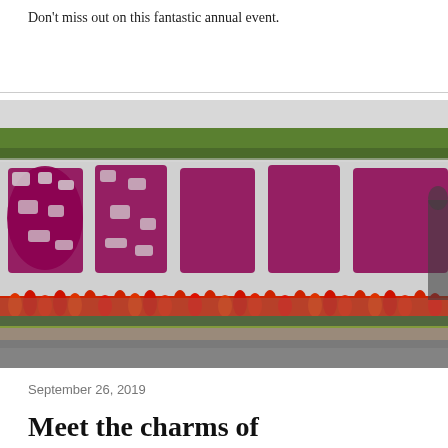Don't miss out on this fantastic annual event.
[Figure (photo): A large decorative flower wall display featuring Chinese characters formed by dark red/magenta flowers against a white flower background, with a row of red tulips at the base and yellow-green hedge border below. A person is partially visible on the right edge.]
September 26, 2019
Meet the charms of